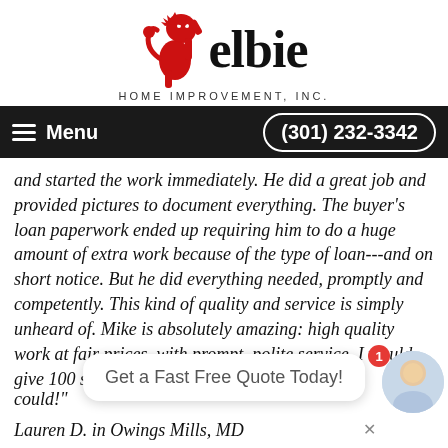[Figure (logo): Elbie Home Improvement Inc. logo with red rampant lion and text 'elbie HOME IMPROVEMENT, INC.']
Menu   (301) 232-3342
and started the work immediately. He did a great job and provided pictures to document everything. The buyer's loan paperwork ended up requiring him to do a huge amount of extra work because of the type of loan---and on short notice. But he did everything needed, promptly and competently. This kind of quality and service is simply unheard of. Mike is absolutely amazing: high quality work at fair prices, with prompt, polite service. I would give 100 stars on this site if I could!"
Lauren D. in Owings Mills, MD